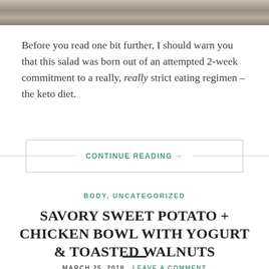[Figure (photo): Top portion of a food/lifestyle photo showing a textured background, partially cropped]
Before you read one bit further, I should warn you that this salad was born out of an attempted 2-week commitment to a really, really strict eating regimen – the keto diet.
CONTINUE READING →
BODY, UNCATEGORIZED
SAVORY SWEET POTATO + CHICKEN BOWL WITH YOGURT & TOASTED WALNUTS
MARCH 25, 2018   LEAVE A COMMENT